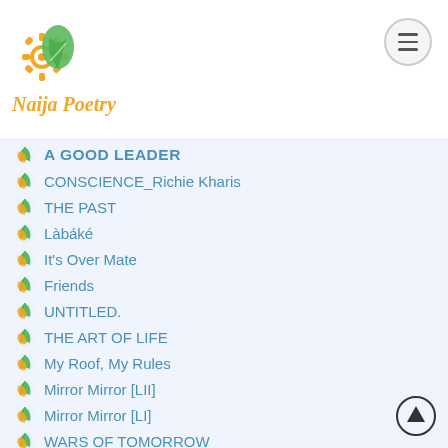Naija Poetry
A GOOD LEADER
CONSCIENCE_Richie Kharis
THE PAST
Làbáké
It's Over Mate
Friends
UNTITLED.
THE ART OF LIFE
My Roof, My Rules
Mirror Mirror [LII]
Mirror Mirror [LI]
WARS OF TOMORROW
MIRROR MIRROR
Education
The Girl I Called My Boo
Ephobia
Prisoner Of Depression.
The Pain Of The World